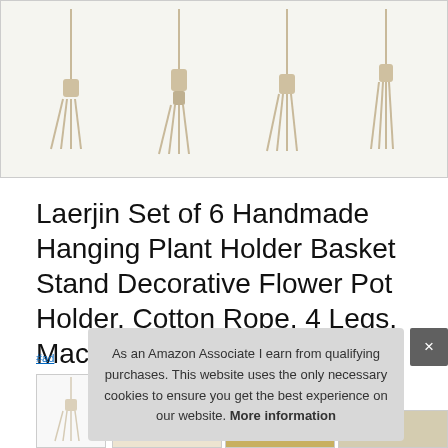[Figure (photo): Product image showing multiple macrame plant hangers with cotton rope and 4 legs hanging against a white background]
Laerjin Set of 6 Handmade Hanging Plant Holder Basket Stand Decorative Flower Pot Holder, Cotton Rope, 4 Legs, Macrame Plant Hangers, 4 Types
#ad
[Figure (photo): Small thumbnail of macrame plant hanger product]
As an Amazon Associate I earn from qualifying purchases. This website uses the only necessary cookies to ensure you get the best experience on our website. More information